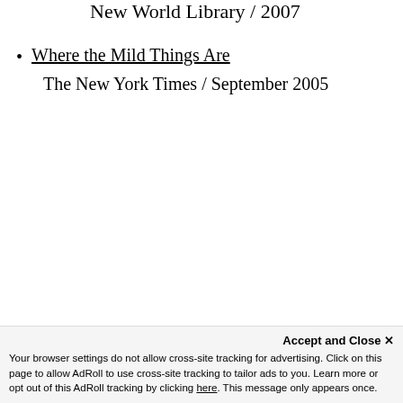New World Library / 2007
Where the Mild Things Are
The New York Times / September 2005
Accept and Close ✕
Your browser settings do not allow cross-site tracking for advertising. Click on this page to allow AdRoll to use cross-site tracking to tailor ads to you. Learn more or opt out of this AdRoll tracking by clicking here. This message only appears once.